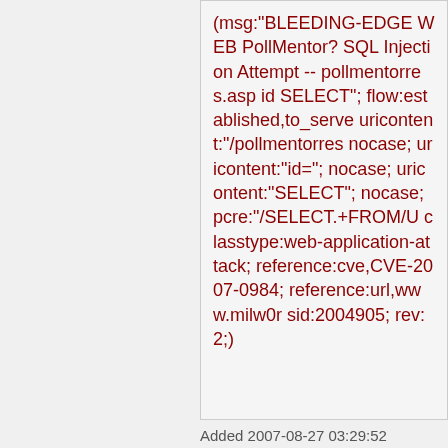(msg:"BLEEDING-EDGE WEB PollMentor? SQL Injection Attempt -- pollmentorres.asp id SELECT"; flow:established,to_server; uricontent:"/pollmentorres"; nocase; uricontent:"id="; nocase; uricontent:"SELECT"; nocase; pcre:"/SELECT.+FROM/U; classtype:web-application-attack; reference:cve,CVE-2007-0984; reference:url,www.milw0r; sid:2004905; rev:2;)
Added 2007-08-27 03:29:52